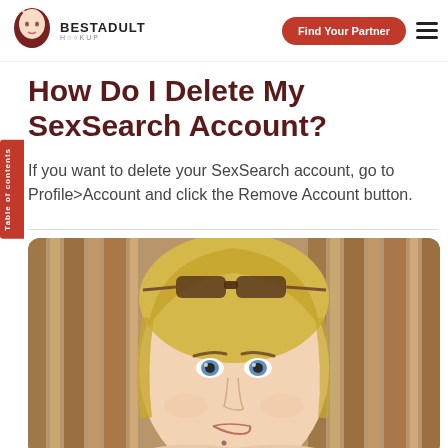BESTADULT HOOKUP | Find Your Partner
How Do I Delete My SexSearch Account?
If you want to delete your SexSearch account, go to Profile>Account and click the Remove Account button.
[Figure (photo): Photo of a blonde woman with sunglasses on her head, wearing natural makeup, in a selfie-style shot with a striped wooden background.]